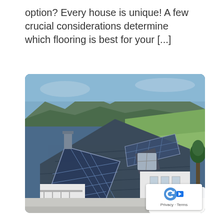option? Every house is unique! A few crucial considerations determine which flooring is best for your [...]
[Figure (photo): Aerial view of a modern white house with a dark tiled roof covered with solar panels. Background shows green mountains and fields under a blue sky.]